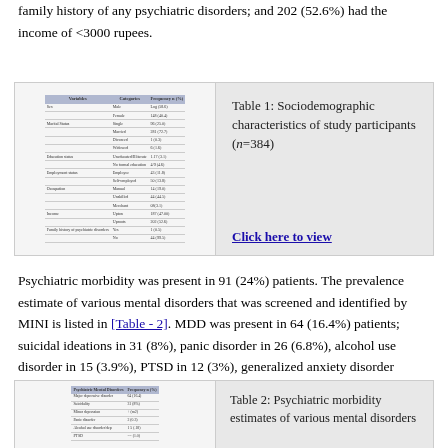family history of any psychiatric disorders; and 202 (52.6%) had the income of <3000 rupees.
[Figure (table-as-image): Thumbnail of Table 1: Sociodemographic characteristics of study participants]
Table 1: Sociodemographic characteristics of study participants (n=384)
Click here to view
Psychiatric morbidity was present in 91 (24%) patients. The prevalence estimate of various mental disorders that was screened and identified by MINI is listed in [Table - 2]. MDD was present in 64 (16.4%) patients; suicidal ideations in 31 (8%), panic disorder in 26 (6.8%), alcohol use disorder in 15 (3.9%), PTSD in 12 (3%), generalized anxiety disorder (0.3%), and organic disorder (1%). Further, 62 (68%) patients were diagnosed with at least one psychiatric disorder and the rest were diagnosed with two psychiatric disorders (n = 29, 38%) such as depression with suicidality or ADS with depression.
[Figure (table-as-image): Thumbnail of Table 2: Psychiatric morbidity estimates of various mental disorders]
Table 2: Psychiatric morbidity estimates of various mental disorders